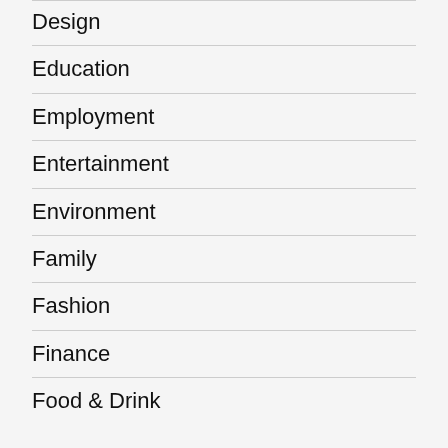Design
Education
Employment
Entertainment
Environment
Family
Fashion
Finance
Food & Drink